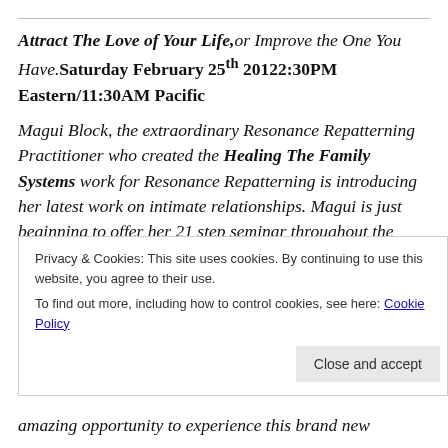Attract The Love of Your Life, or Improve the One You Have. Saturday February 25th 20122:30PM Eastern/11:30AM Pacific Magui Block, the extraordinary Resonance Repatterning Practitioner who created the Healing The Family Systems work for Resonance Repatterning is introducing her latest work on intimate relationships. Magui is just beginning to offer her 21 step seminar throughout the world (open to everyone, not just RR Practitioners). This Saturday we have a
Privacy & Cookies: This site uses cookies. By continuing to use this website, you agree to their use.
To find out more, including how to control cookies, see here: Cookie Policy
Close and accept
amazing opportunity to experience this brand new